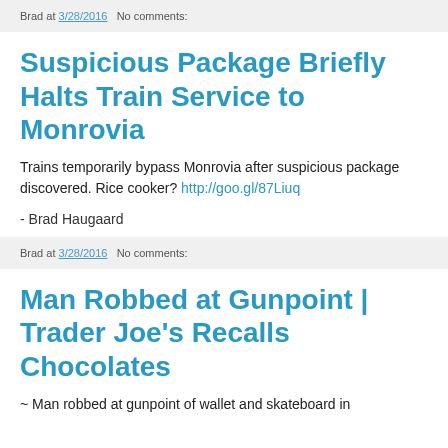Brad at 3/28/2016   No comments:
Suspicious Package Briefly Halts Train Service to Monrovia
Trains temporarily bypass Monrovia after suspicious package discovered. Rice cooker? http://goo.gl/87Liuq
- Brad Haugaard
Brad at 3/28/2016   No comments:
Man Robbed at Gunpoint | Trader Joe's Recalls Chocolates
~ Man robbed at gunpoint of wallet and skateboard in